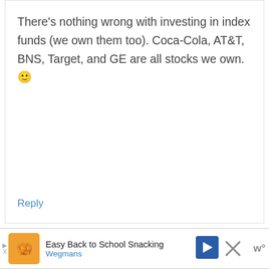There's nothing wrong with investing in index funds (we own them too). Coca-Cola, AT&T, BNS, Target, and GE are all stocks we own. 🙂
Reply
desidividend
October 5, 2017 at 11:39 am
[Figure (other): Advertisement banner: Easy Back to School Snacking by Wegmans]